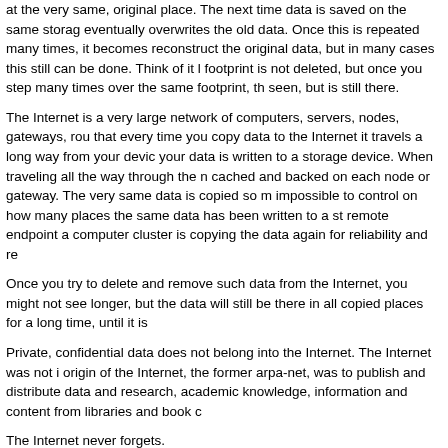at the very same, original place. The next time data is saved on the same storage eventually overwrites the old data. Once this is repeated many times, it becomes reconstruct the original data, but in many cases this still can be done. Think of it footprint is not deleted, but once you step many times over the same footprint, th seen, but is still there.
The Internet is a very large network of computers, servers, nodes, gateways, rou that every time you copy data to the Internet it travels a long way from your devic your data is written to a storage device. When traveling all the way through the n cached and backed on each node or gateway. The very same data is copied so n impossible to control on how many places the same data has been written to a st remote endpoint a computer cluster is copying the data again for reliability and re
Once you try to delete and remove such data from the Internet, you might not see longer, but the data will still be there in all copied places for a long time, until it is
Private, confidential data does not belong into the Internet. The Internet was not i origin of the Internet, the former arpa-net, was to publish and distribute data and research, academic knowledge, information and content from libraries and book c
The Internet never forgets.
2. Can we recover Deleted or Lost Files?
Yes. Depending the resources, the disposability and the mechanisms one can me data. Again: all the data that travels through the Internet is copied and cached all there is a robot called “the Internet archiver”, which is a search spider that follows Internet and crawls through the network. Once it finds data it copies and stores it again. Further there are large data crawlers that are gathering large amount of da